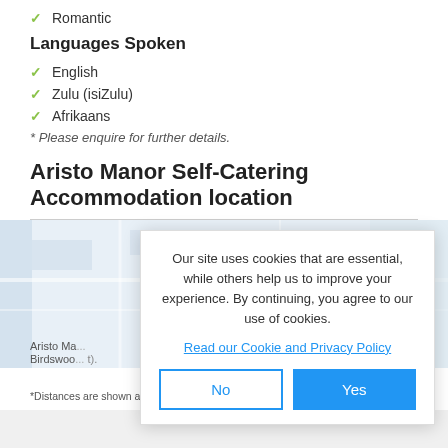✓ Romantic
Languages Spoken
✓ English
✓ Zulu (isiZulu)
✓ Afrikaans
* Please enquire for further details.
Aristo Manor Self-Catering Accommodation location
[Figure (map): Map showing location of Aristo Manor Self-Catering Accommodation]
Aristo Ma... Birdswoo... t).
*Distances are shown as the crow flies and not necessarily the actual travelling
Our site uses cookies that are essential, while others help us to improve your experience. By continuing, you agree to our use of cookies. Read our Cookie and Privacy Policy
No
Yes